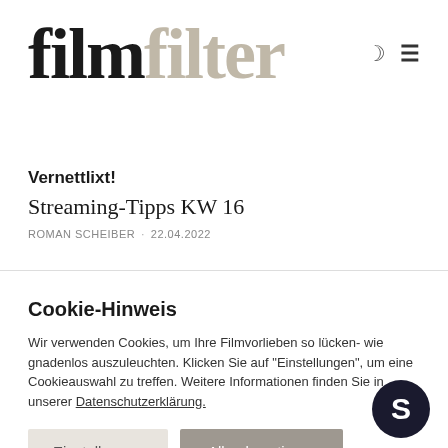[Figure (logo): filmfilter logo — 'film' in dark/black serif, 'filter' in light beige/tan serif, with moon icon and hamburger menu icon to the right]
Vernettlixt!
Streaming-Tipps KW 16
ROMAN SCHEIBER · 22.04.2022
Cookie-Hinweis
Wir verwenden Cookies, um Ihre Filmvorlieben so lücken- wie gnadenlos auszuleuchten. Klicken Sie auf "Einstellungen", um eine Cookieauswahl zu treffen. Weitere Informationen finden Sie in unserer Datenschutzerklärung.
Einstellungen   Alle akzeptieren